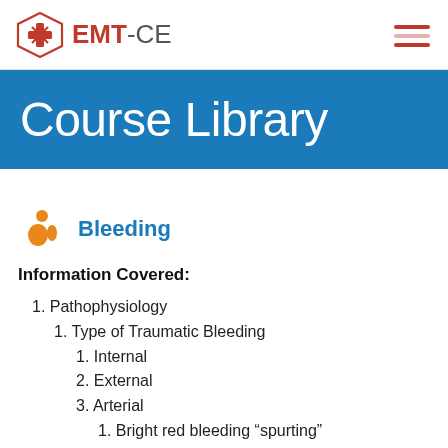EMT-CE
Course Library
Bleeding
Information Covered:
1. Pathophysiology
1. Type of Traumatic Bleeding
1. Internal
2. External
3. Arterial
1. Bright red bleeding "spurting"